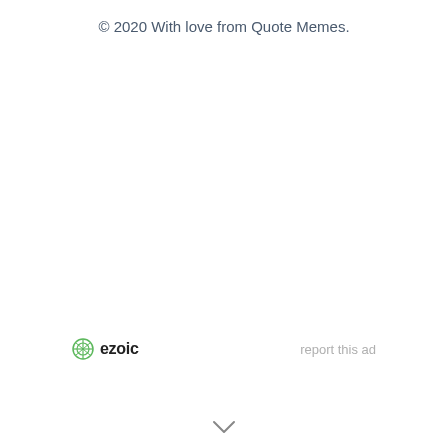© 2020 With love from Quote Memes.
ezoic   report this ad